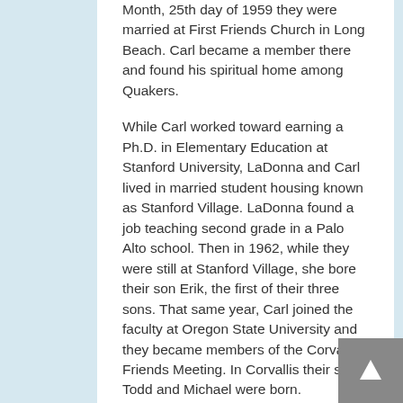Month, 25th day of 1959 they were married at First Friends Church in Long Beach. Carl became a member there and found his spiritual home among Quakers.
While Carl worked toward earning a Ph.D. in Elementary Education at Stanford University, LaDonna and Carl lived in married student housing known as Stanford Village. LaDonna found a job teaching second grade in a Palo Alto school. Then in 1962, while they were still at Stanford Village, she bore their son Erik, the first of their three sons. That same year, Carl joined the faculty at Oregon State University and they became members of the Corvallis Friends Meeting. In Corvallis their sons Todd and Michael were born.
In 1965, the University of Oregon hired Carl, and so the Wallens transferred their memberships to Eugene Friends Meeting.